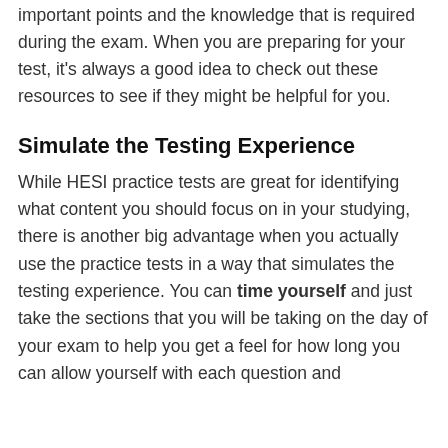important points and the knowledge that is required during the exam. When you are preparing for your test, it's always a good idea to check out these resources to see if they might be helpful for you.
Simulate the Testing Experience
While HESI practice tests are great for identifying what content you should focus on in your studying, there is another big advantage when you actually use the practice tests in a way that simulates the testing experience. You can time yourself and just take the sections that you will be taking on the day of your exam to help you get a feel for how long you can allow yourself with each question and...